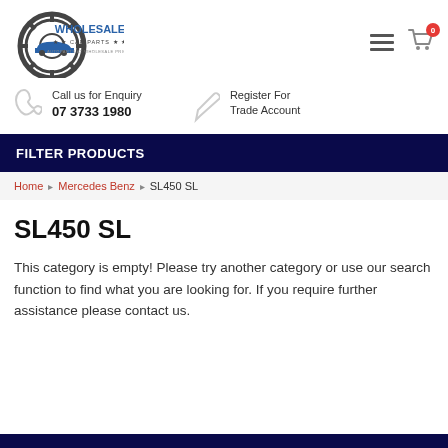[Figure (logo): Wholesale Car Parts logo — gear icon with car silhouette and blue text]
Call us for Enquiry
07 3733 1980
Register For Trade Account
FILTER PRODUCTS
Home › Mercedes Benz › SL450 SL
SL450 SL
This category is empty! Please try another category or use our search function to find what you are looking for. If you require further assistance please contact us.